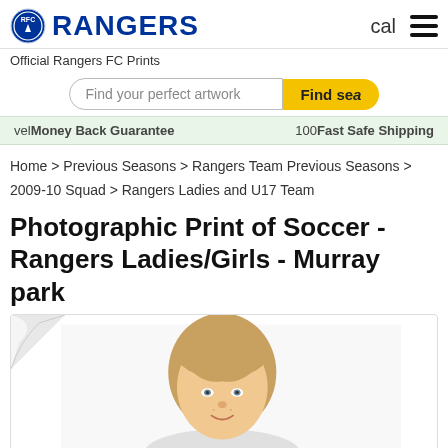RANGERS — Official Rangers FC Prints
Find your perfect artwork
vel Money Back Guarantee    100 Fast Safe Shipping
Home > Previous Seasons > Rangers Team Previous Seasons > 2009-10 Squad > Rangers Ladies and U17 Team
Photographic Print of Soccer - Rangers Ladies/Girls - Murray park
[Figure (photo): Portrait photo of a young blonde girl smiling, shown from shoulders up, white background, inside a bordered card with a page-curl effect in the top-left corner.]